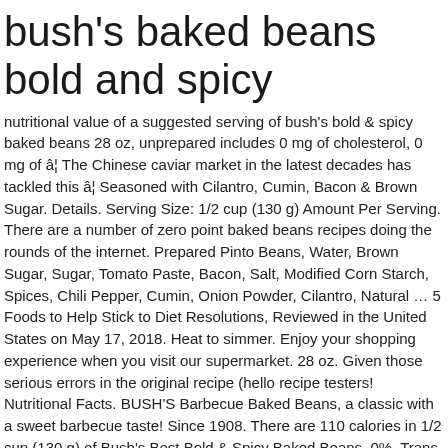bush's baked beans bold and spicy
nutritional value of a suggested serving of bush's bold & spicy baked beans 28 oz, unprepared includes 0 mg of cholesterol, 0 mg of â¦ The Chinese caviar market in the latest decades has tackled this â¦ Seasoned with Cilantro, Cumin, Bacon & Brown Sugar. Details. Serving Size: 1/2 cup (130 g) Amount Per Serving. There are a number of zero point baked beans recipes doing the rounds of the internet. Prepared Pinto Beans, Water, Brown Sugar, Sugar, Tomato Paste, Bacon, Salt, Modified Corn Starch, Spices, Chili Pepper, Cumin, Onion Powder, Cilantro, Natural … 5 Foods to Help Stick to Diet Resolutions, Reviewed in the United States on May 17, 2018. Heat to simmer. Enjoy your shopping experience when you visit our supermarket. 28 oz. Given those serious errors in the original recipe (hello recipe testers! Nutritional Facts. BUSH'S Barbecue Baked Beans, a classic with a sweet barbecue taste! Since 1908. There are 110 calories in 1/2 cup (130 g) of Bush's Best Bold & Spicy Baked Beans. 0%. Trans Fat-Cholesterol. CAN BE ADDED TO ANY MEAL. Please note that some foods may not be suitable for some people and you are urged to seek the advice of a physician before beginning any weight loss effort or diet regimen.